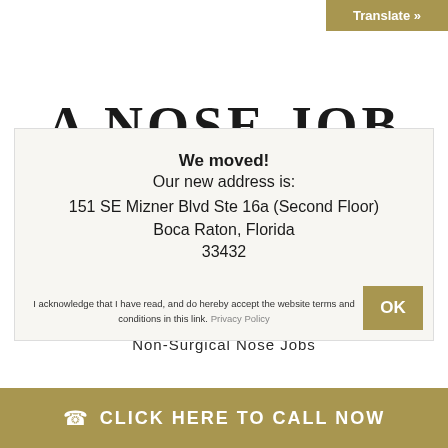[Figure (other): Translate button in gold/olive color at top-right corner with white text 'Translate »']
A NOSE JOB
We moved!
Our new address is:
151 SE Mizner Blvd Ste 16a (Second Floor)
Boca Raton, Florida
33432
I acknowledge that I have read, and do hereby accept the website terms and conditions in this link. Privacy Policy
Non-Surgical Nose Jobs
CLICK HERE TO CALL NOW